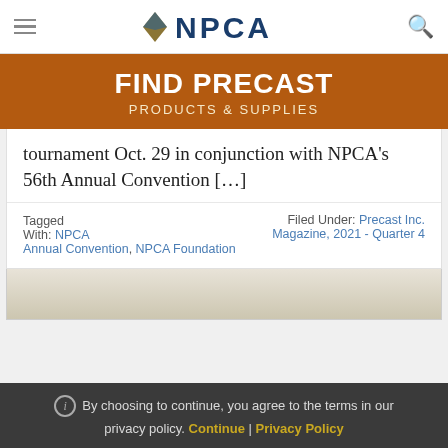[Figure (logo): NPCA logo with diamond shape and text 'NPCA' in dark blue with gold diamond accent]
[Figure (infographic): Orange banner with text FIND PRECAST PRODUCTS & SUPPLIES]
tournament Oct. 29 in conjunction with NPCA’s 56th Annual Convention […]
Tagged With: NPCA Annual Convention, NPCA Foundation
Filed Under: Precast Inc. Magazine, 2021 - Quarter 4
[Figure (photo): Partial view of next article preview image, beige/tan color]
By choosing to continue, you agree to the terms in our privacy policy. Continue | Privacy Policy